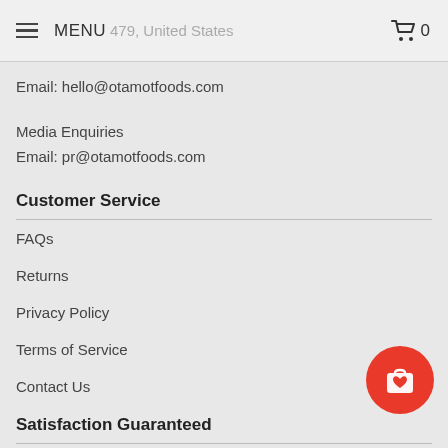MENU   [location: United States]   [cart: 0]
Email: hello@otamotfoods.com
Media Enquiries
Email: pr@otamotfoods.com
Customer Service
FAQs
Returns
Privacy Policy
Terms of Service
Contact Us
Satisfaction Guaranteed